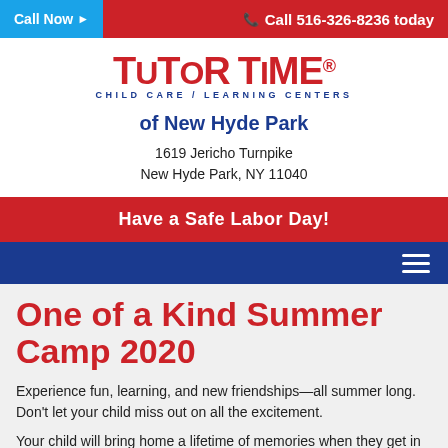Call Now ▶   ☎ Call 516-326-8236 today
[Figure (logo): TuToR TiME Child Care / Learning Centers logo in red and blue]
of New Hyde Park
1619 Jericho Turnpike
New Hyde Park, NY 11040
Have a Safe Labor Day!
One of a Kind Summer Camp 2020
Experience fun, learning, and new friendships—all summer long. Don't let your child miss out on all the excitement.
Your child will bring home a lifetime of memories when they get in on this great camp experience. We offer special